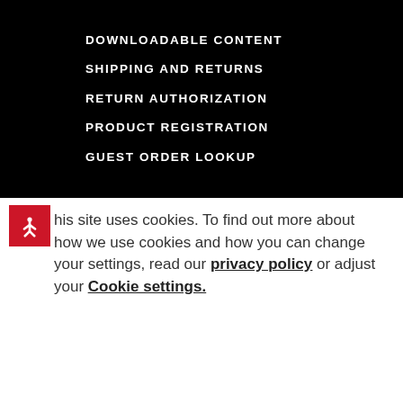DOWNLOADABLE CONTENT
SHIPPING AND RETURNS
RETURN AUTHORIZATION
PRODUCT REGISTRATION
GUEST ORDER LOOKUP
This site uses cookies. To find out more about how we use cookies and how you can change your settings, read our privacy policy or adjust your Cookie settings.
ACCEPT
DECLINE COOKIES
DECLINE